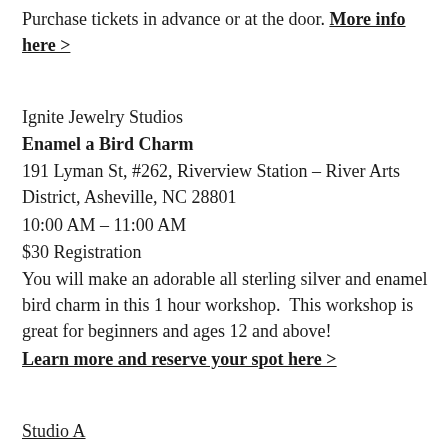Purchase tickets in advance or at the door. More info here >
Ignite Jewelry Studios
Enamel a Bird Charm
191 Lyman St, #262, Riverview Station – River Arts District, Asheville, NC 28801
10:00 AM – 11:00 AM
$30 Registration
You will make an adorable all sterling silver and enamel bird charm in this 1 hour workshop.  This workshop is great for beginners and ages 12 and above!
Learn more and reserve your spot here >
Studio A
Pysanky Egg Workshop – Valentines' Edition